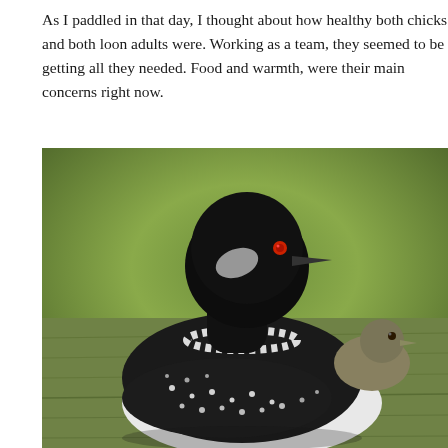As I paddled in that day, I thought about how healthy both chicks and both loon adults were. Working as a team, they seemed to be getting all they needed. Food and warmth, were their main concerns right now.
[Figure (photo): A close-up photograph of an adult loon (common loon) with distinctive black and white spotted plumage and a red eye, swimming on water with a small fluffy chick riding on its back. The background shows blurred green and brown tones of water and foliage.]